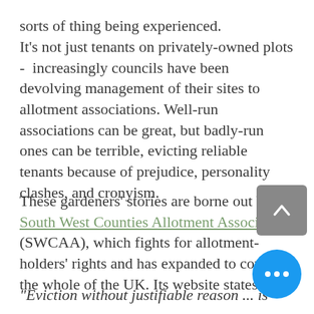sorts of thing being experienced.
It's not just tenants on privately-owned plots -  increasingly councils have been devolving management of their sites to allotment associations. Well-run associations can be great, but badly-run ones can be terrible, evicting reliable tenants because of prejudice, personality clashes, and cronyism.
These gardeners' stories are borne out by the South West Counties Allotment Association (SWCAA), which fights for allotment-holders' rights and has expanded to cover the whole of the UK. Its website states:
"Eviction without justifiable reason ... is